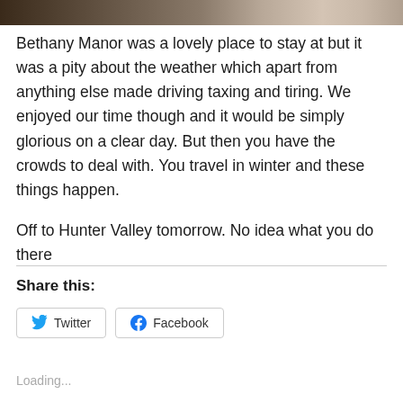[Figure (photo): Partial photo strip at top of page showing dark colored image]
Bethany Manor was a lovely place to stay at but it was a pity about the weather which apart from anything else made driving taxing and tiring. We enjoyed our time though and it would be simply glorious on a clear day. But then you have the crowds to deal with. You travel in winter and these things happen.
Off to Hunter Valley tomorrow. No idea what you do there
Share this:
Loading...